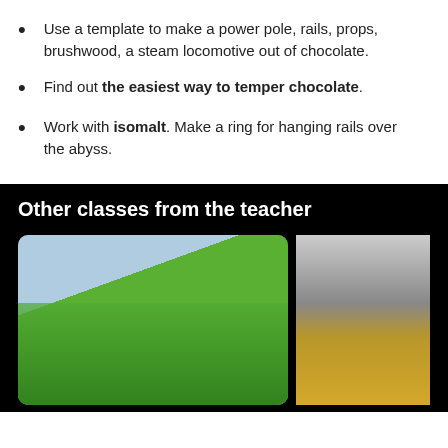Use a template to make a power pole, rails, props, brushwood, a steam locomotive out of chocolate.
Find out the easiest way to temper chocolate.
Work with isomalt. Make a ring for hanging rails over the abyss.
Other classes from the teacher
[Figure (photo): Photo of a green Super Mario themed cake with small figurines on top]
[Figure (photo): Photo of a golden decorated egg or horse sculpture]